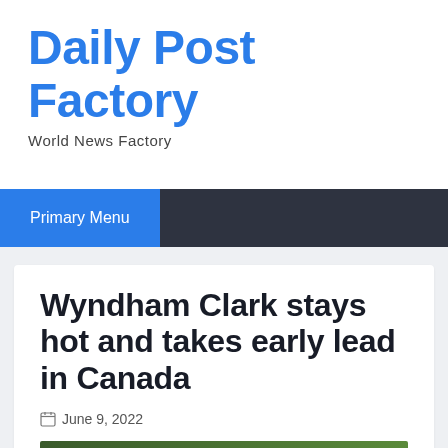Daily Post Factory
World News Factory
Primary Menu
Wyndham Clark stays hot and takes early lead in Canada
June 9, 2022